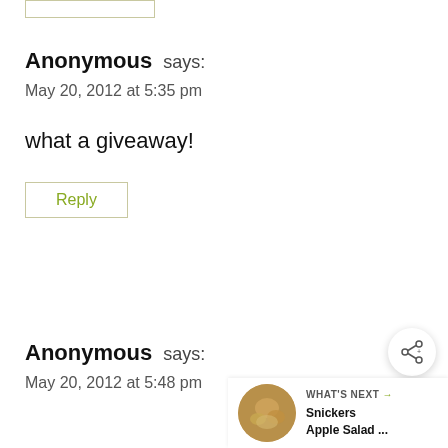[Figure (other): Reply button outline placeholder at top]
Anonymous says:
May 20, 2012 at 5:35 pm
what a giveaway!
Reply
Anonymous says:
May 20, 2012 at 5:48 pm
[Figure (other): Share icon button (circle with share symbol)]
[Figure (other): What's Next widget with thumbnail image and text: Snickers Apple Salad ...]